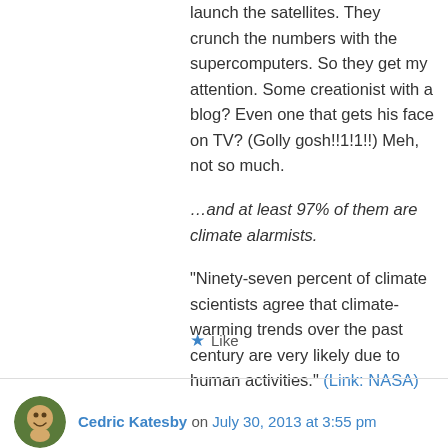launch the satellites. They crunch the numbers with the supercomputers. So they get my attention. Some creationist with a blog? Even one that gets his face on TV? (Golly gosh!!1!1!!) Meh, not so much.
…and at least 97% of them are climate alarmists.
“Ninety-seven percent of climate scientists agree that climate-warming trends over the past century are very likely due to human activities.” (Link: NASA)
★ Like
Cedric Katesby on July 30, 2013 at 3:55 pm